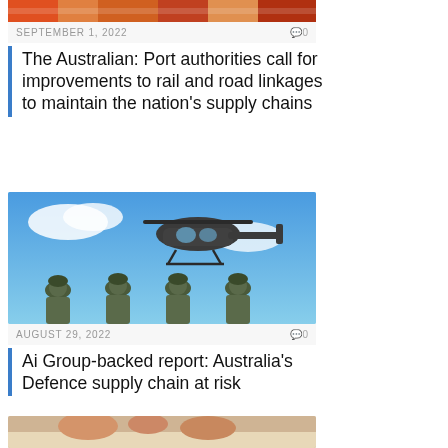[Figure (photo): Partial top image cropped, colorful supplies or goods]
SEPTEMBER 1, 2022    Ð0
The Australian: Port authorities call for improvements to rail and road linkages to maintain the nation’s supply chains
[Figure (photo): Military soldiers standing with a helicopter in blue sky background]
AUGUST 29, 2022    Ð0
Ai Group-backed report: Australia’s Defence supply chain at risk
[Figure (photo): Hands pointing at documents on a table, construction or planning context]